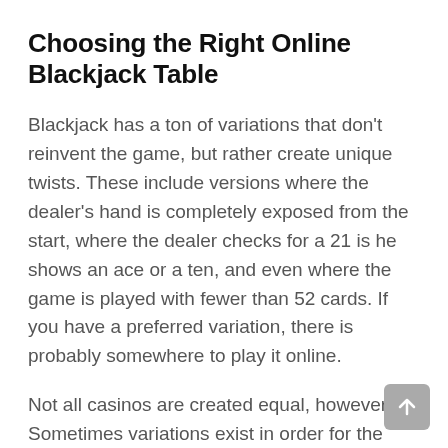Choosing the Right Online Blackjack Table
Blackjack has a ton of variations that don't reinvent the game, but rather create unique twists. These include versions where the dealer's hand is completely exposed from the start, where the dealer checks for a 21 is he shows an ace or a ten, and even where the game is played with fewer than 52 cards. If you have a preferred variation, there is probably somewhere to play it online.
Not all casinos are created equal, however. Sometimes variations exist in order for the house to have better odds. Here are some things you may